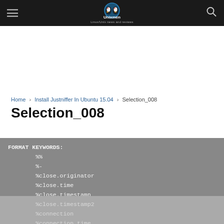Unixmen - Linux/Unix news and reviews
Home › Install Justniffer In Ubuntu 15.04 › Selection_008
Selection_008
FORMAT KEYWORDS:
        %%
        %-
        %close.originator
        %close.time
        %close.timestamp
        %close.timestamp2
        %connection
        %connection.time